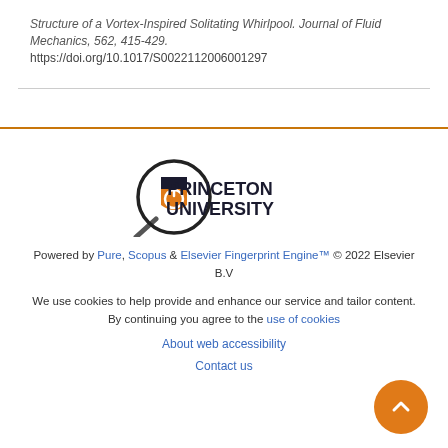Structure of a Vortex-Inspired Solitating Whirlpool. Journal of Fluid Mechanics, 562, 415-429. https://doi.org/10.1017/S0022112006001297
[Figure (logo): Princeton University logo with magnifying glass icon and shield, followed by text PRINCETON UNIVERSITY]
Powered by Pure, Scopus & Elsevier Fingerprint Engine™ © 2022 Elsevier B.V
We use cookies to help provide and enhance our service and tailor content. By continuing you agree to the use of cookies
About web accessibility
Contact us